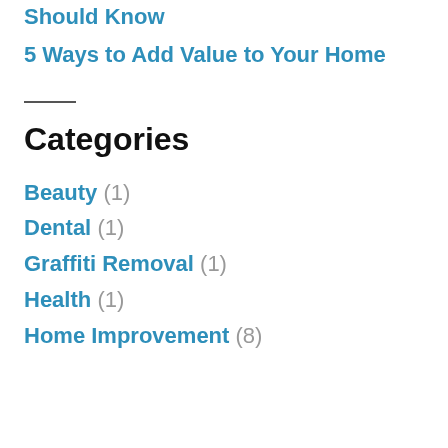Should Know
5 Ways to Add Value to Your Home
Categories
Beauty (1)
Dental (1)
Graffiti Removal (1)
Health (1)
Home Improvement (8)